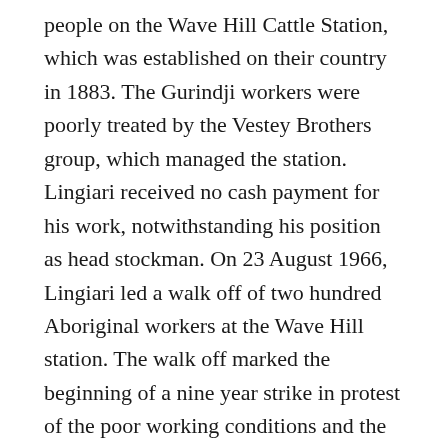people on the Wave Hill Cattle Station, which was established on their country in 1883. The Gurindji workers were poorly treated by the Vestey Brothers group, which managed the station. Lingiari received no cash payment for his work, notwithstanding his position as head stockman. On 23 August 1966, Lingiari led a walk off of two hundred Aboriginal workers at the Wave Hill station. The walk off marked the beginning of a nine year strike in protest of the poor working conditions and the dispossession suffered by the Gurindji. The Gurindji's protest gathered public attention. The political pressure generated by the protest resulted in the return of their lands at a ceremony at Wattie Creek on August 16, 1975. The return of Gurindji lands is regarded as one of the defining moments in the Aboriginal land rights movement. A photograph captured by Mervyn Bishop of Prime